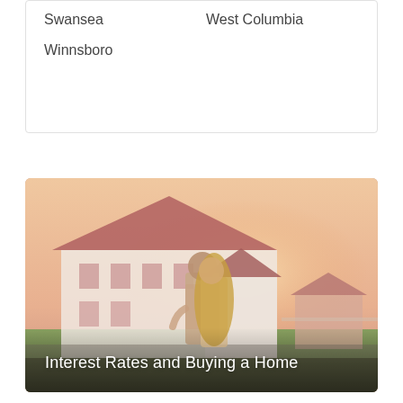Swansea
West Columbia
Winnsboro
[Figure (photo): A couple embracing from behind, looking at a large white house with a pink/red roof in a suburban setting at golden hour, with the text overlay 'Interest Rates and Buying a Home']
[Figure (photo): Partial view of a house rooftop at sunset/golden hour, bottom portion of a second article card]